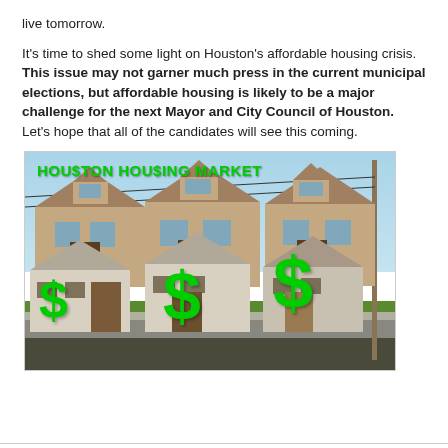live tomorrow.
It's time to shed some light on Houston's affordable housing crisis.  This issue may not garner much press in the current municipal elections, but affordable housing is likely to be a major challenge for the next Mayor and City Council of Houston.  Let's hope that all of the candidates will see this coming.
[Figure (photo): Photo of residential houses with green dollar signs overlaid and text 'HOUSTON HOUSING MARKET' in green at the top, illustrating the Houston housing market affordability issue.]